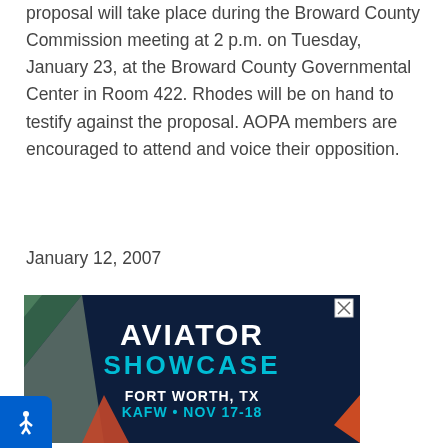proposal will take place during the Broward County Commission meeting at 2 p.m. on Tuesday, January 23, at the Broward County Governmental Center in Room 422. Rhodes will be on hand to testify against the proposal. AOPA members are encouraged to attend and voice their opposition.
January 12, 2007
[Figure (illustration): Advertisement banner for Aviator Showcase event. Dark navy background with geometric triangle shapes in green, grey, orange/red and teal. Large white bold text reads 'AVIATOR' and below in cyan/teal 'SHOWCASE'. Below that in white bold text 'FORT WORTH, TX' and in cyan 'KAFW • NOV 17-18'. Close button (X) in top right corner.]